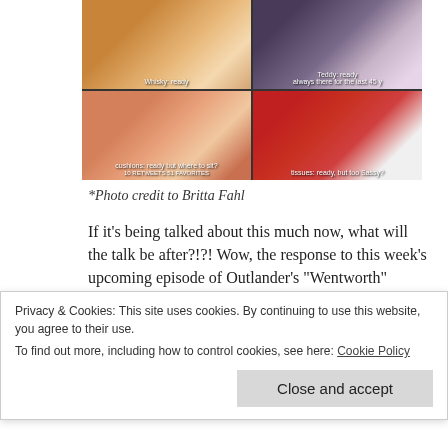[Figure (photo): A 2x2 grid of photos showing: top-left a whisky bottle with text 'Whisky: ready', top-right a vintage photo of a person in dark clothes with text 'Teddy: ready always there for the last 45 y', bottom-left cushions/pillows with text 'cushions: ready but where to sit?', bottom-right a Union Jack tissue box with text 'tissues: ready, but too Sassy?']
*Photo credit to Britta Fahl
If it’s being talked about this much now, what will the talk be after?!?! Wow, the response to this week’s upcoming episode of Outlander’s “Wentworth” seems to have taken on a life of its own!  If I was writing a
Privacy & Cookies: This site uses cookies. By continuing to use this website, you agree to their use.
To find out more, including how to control cookies, see here: Cookie Policy
Close and accept